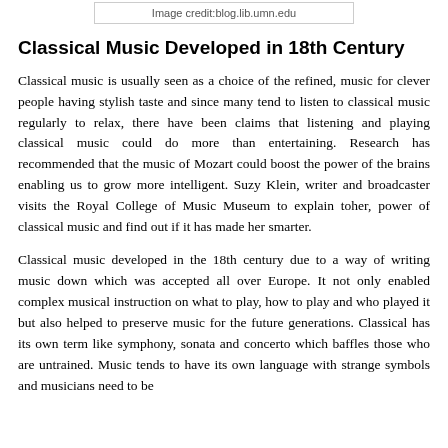Image credit:blog.lib.umn.edu
Classical Music Developed in 18th Century
Classical music is usually seen as a choice of the refined, music for clever people having stylish taste and since many tend to listen to classical music regularly to relax, there have been claims that listening and playing classical music could do more than entertaining. Research has recommended that the music of Mozart could boost the power of the brains enabling us to grow more intelligent. Suzy Klein, writer and broadcaster visits the Royal College of Music Museum to explain toher, power of classical music and find out if it has made her smarter.
Classical music developed in the 18th century due to a way of writing music down which was accepted all over Europe. It not only enabled complex musical instruction on what to play, how to play and who played it but also helped to preserve music for the future generations. Classical has its own term like symphony, sonata and concerto which baffles those who are untrained. Music tends to have its own language with strange symbols and musicians need to be